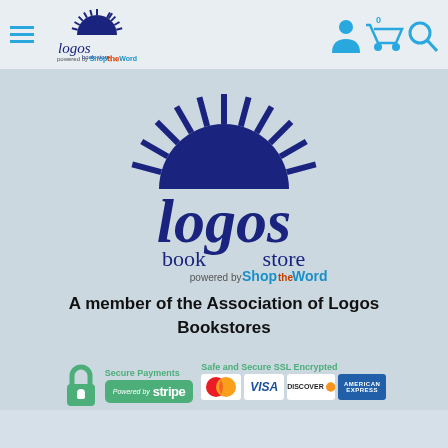[Figure (logo): Hamburger menu icon (three blue horizontal lines) on the left of the nav bar]
[Figure (logo): Logos Book Store logo (small) in nav bar header, powered by ShopTheWord]
[Figure (logo): User account icon, shopping cart with 0 badge, and search icon in nav bar top right (blue icons)]
[Figure (logo): Large Logos Book Store logo centered on page with sunburst/half-circle above text 'logos book store powered by ShopTheWord']
A member of the Association of Logos Bookstores
[Figure (infographic): Secure Payments section: green padlock icon, Stripe payment button (green), MasterCard, VISA, Discover, American Express card logos. Labels: 'Secure Payments' and 'Safe and Secure SSL Encrypted']